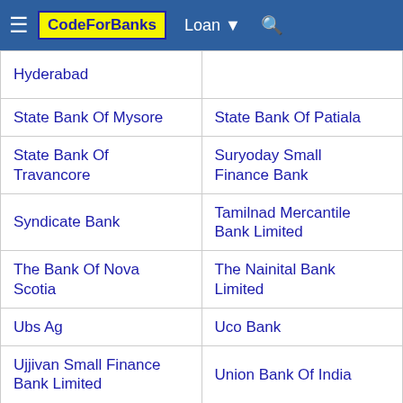CodeForBanks | Loan | Search
| Hyderabad |  |
| State Bank Of Mysore | State Bank Of Patiala |
| State Bank Of Travancore | Suryoday Small Finance Bank |
| Syndicate Bank | Tamilnad Mercantile Bank Limited |
| The Bank Of Nova Scotia | The Nainital Bank Limited |
| Ubs Ag | Uco Bank |
| Ujjivan Small Finance Bank Limited | Union Bank Of India |
| United Bank Of India | United Overseas Bank Limited |
| Utkarsh Small Finance Bank | Vijaya Bank |
|  |  |